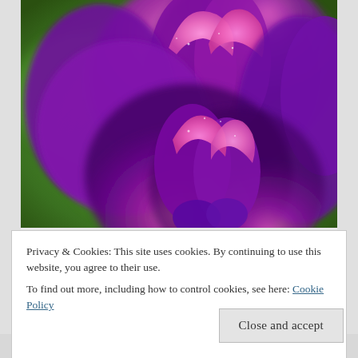[Figure (photo): Close-up macro photograph of purple/violet flower buds with pink inner petals curling open, against a blurred green background. The petals have a velvety texture with slight sparkle.]
Privacy & Cookies: This site uses cookies. By continuing to use this website, you agree to their use.
To find out more, including how to control cookies, see here: Cookie Policy
Close and accept